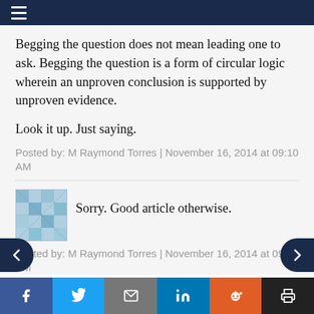≡
Begging the question does not mean leading one to ask. Begging the question is a form of circular logic wherein an unproven conclusion is supported by unproven evidence.
Look it up. Just saying.
Posted by: M Raymond Torres | November 16, 2014 at 09:10 AM
Sorry. Good article otherwise.
Posted by: M Raymond Torres | November 16, 2014 at 09:11 AM